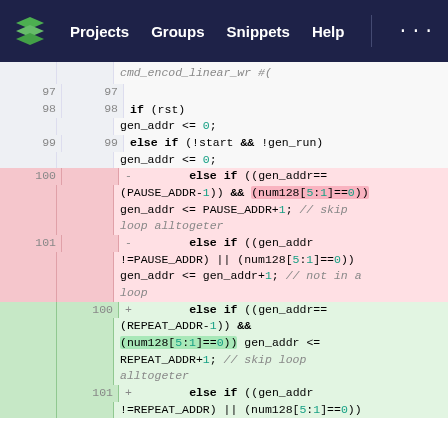Projects  Groups  Snippets  Help
[Figure (screenshot): Code diff view showing Verilog/HDL source lines 97-101, with deleted lines (red background) and inserted lines (green background). Deleted lines 100-101 contain else if conditions using PAUSE_ADDR, replaced by new lines 100-101 using REPEAT_ADDR.]